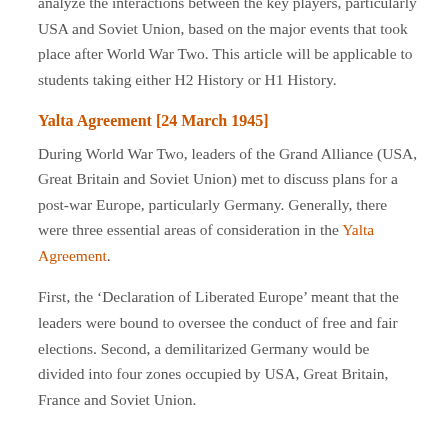analyze the interactions between the key players, particularly USA and Soviet Union, based on the major events that took place after World War Two. This article will be applicable to students taking either H2 History or H1 History.
Yalta Agreement [24 March 1945]
During World War Two, leaders of the Grand Alliance (USA, Great Britain and Soviet Union) met to discuss plans for a post-war Europe, particularly Germany. Generally, there were three essential areas of consideration in the Yalta Agreement.
First, the ‘Declaration of Liberated Europe’ meant that the leaders were bound to oversee the conduct of free and fair elections. Second, a demilitarized Germany would be divided into four zones occupied by USA, Great Britain, France and Soviet Union.